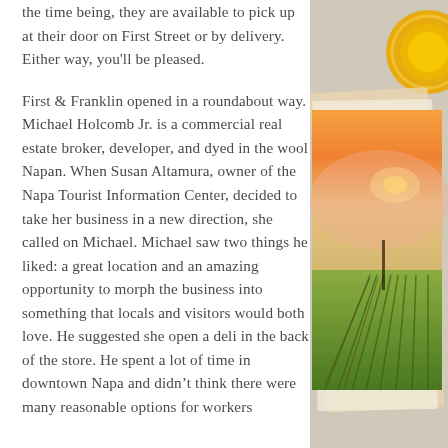the time being, they are available to pick up at their door on First Street or by delivery. Either way, you'll be pleased.

First & Franklin opened in a roundabout way. Michael Holcomb Jr. is a commercial real estate broker, developer, and dyed in the wool Napan. When Susan Altamura, owner of the Napa Tourist Information Center, decided to take her business in a new direction, she called on Michael. Michael saw two things he liked: a great location and an amazing opportunity to morph the business into something that locals and visitors would both love. He suggested she open a deli in the back of the store. He spent a lot of time in downtown Napa and didn't think there were many reasonable options for workers
[Figure (photo): Right side photo strip showing a golden circular emblem/badge at top right, and below it an image of a vineyard with rows of grapevines at sunset with warm orange and pink sky tones. The photos appear to be layered/overlapping.]